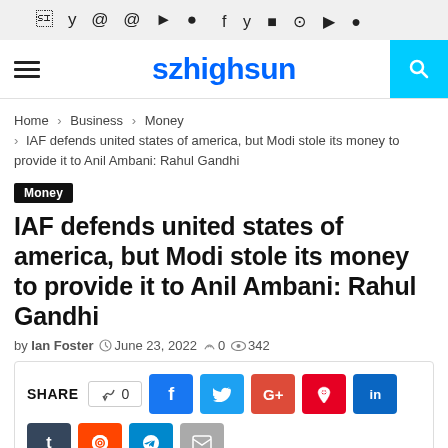f  y  instagram  pinterest  youtube  snapchat
≡  szhighsun  🔍
Home > Business > Money > IAF defends united states of america, but Modi stole its money to provide it to Anil Ambani: Rahul Gandhi
Money
IAF defends united states of america, but Modi stole its money to provide it to Anil Ambani: Rahul Gandhi
by Ian Foster  © June 23, 2022  💬 0  👁 342
SHARE  👍 0  f  t  G+  pinterest  in  t  reddit  telegram  email